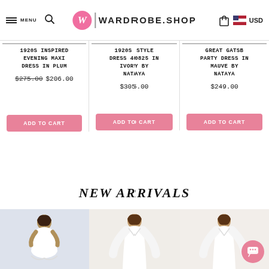MENU | W WARDROBE.SHOP | USD
1920S INSPIRED EVENING MAXI DRESS IN PLUM
$275.00 $206.00
ADD TO CART
1920S STYLE DRESS 40825 IN IVORY BY NATAYA
$305.00
ADD TO CART
GREAT GATSBY PARTY DRESS IN MAUVE BY NATAYA
$249.00
ADD TO CART
NEW ARRIVALS
[Figure (photo): Woman in white lace short dress with V-neck and flutter sleeves on light blue background]
[Figure (photo): Woman in white long dress with V-neck and flowing sleeves on light background]
[Figure (photo): Woman in white long dress with V-neck and flowing sleeves on light background, partial view]